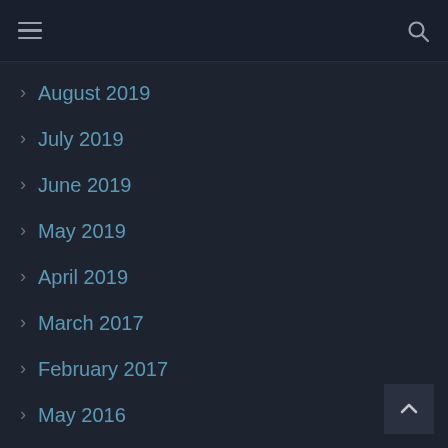August 2019
July 2019
June 2019
May 2019
April 2019
March 2017
February 2017
May 2016
Categories
Uncategorized